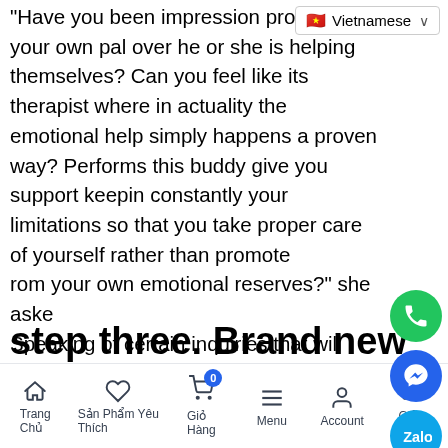[Figure (screenshot): Vietnamese language selector dropdown button in top right corner]
“Have you been impression providing your own pal over he or she is helping themselves? Can you feel like its therapist where in actuality the emotional help simply happens a proven way? Performs this buddy give you support keepin constantly your limitations so that you take proper care of yourself rather than promote rom your own emotional reserves?” she asked. Speaking of certain inquiries that will help you determine whether or maybe not that it dating worth the power.”
[Figure (infographic): Four floating action buttons on the right side: green phone button, blue Facebook Messenger button, blue Zalo button, dark scroll-to-top button]
step three. Brand new
Trang Chú | Sản Phẩm Yêu Thích (0) | Menu | Account | Giỏ Hàng (0)